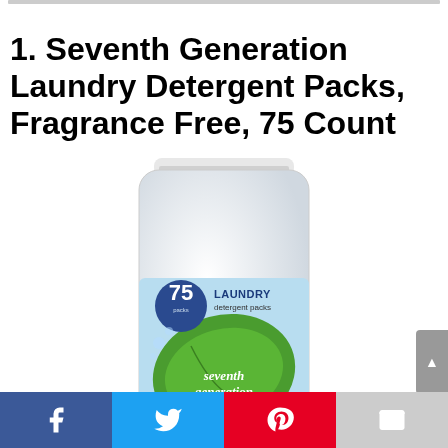1. Seventh Generation Laundry Detergent Packs, Fragrance Free, 75 Count
[Figure (photo): Product photo of Seventh Generation Laundry Detergent Packs container, 75 count, Fragrance Free. White cylindrical bottle with light blue label showing a green leaf and the number 75. Text on label: LAUNDRY detergent packs, seventh generation, fragrance free, FIGHTS STAINS, MADE FOR SENSITIVE SKIN.]
Social share bar: Facebook, Twitter, Pinterest, Email